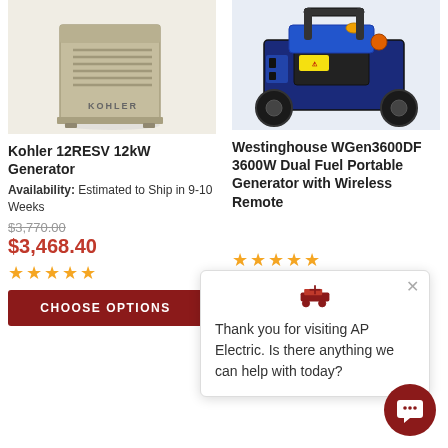[Figure (photo): Kohler standby generator unit (tan/beige metal enclosure)]
[Figure (photo): Westinghouse WGen3600DF portable generator (blue and black)]
Kohler 12RESV 12kW Generator
Westinghouse WGen3600DF 3600W Dual Fuel Portable Generator with Wireless Remote
Availability: Estimated to Ship in 9-10 Weeks
$3,770.00
$3,468.40
★★★★★
★★★★★
CHOOSE OPTIONS
Thank you for visiting AP Electric. Is there anything we can help with today?